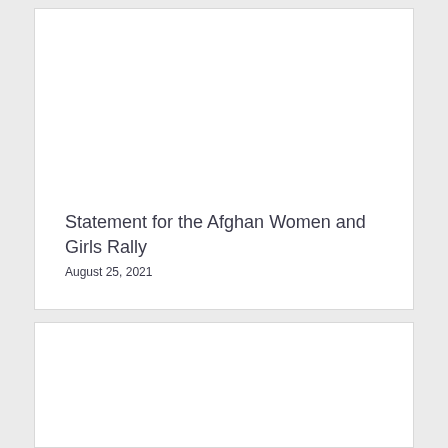Statement for the Afghan Women and Girls Rally
August 25, 2021